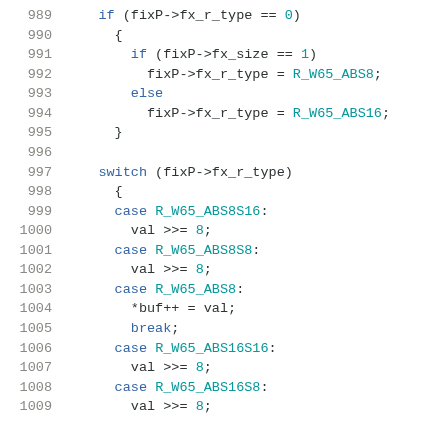Source code listing, lines 989-1009, C code snippet for fixP->fx_r_type switch/case logic